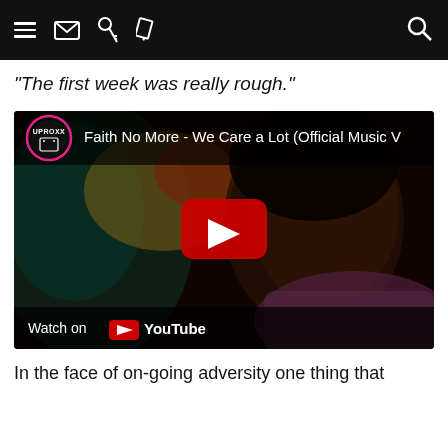Navigation bar with hamburger menu, envelope, key, pencil icons on left; search icon on right
“The first week was really rough.”
[Figure (screenshot): YouTube embedded video thumbnail showing UPROXX channel logo and title 'Faith No More - We Care a Lot (Official Music V...' with a play button overlay on a dark image of a person's face, and 'Watch on YouTube' at the bottom.]
In the face of on-going adversity one thing that